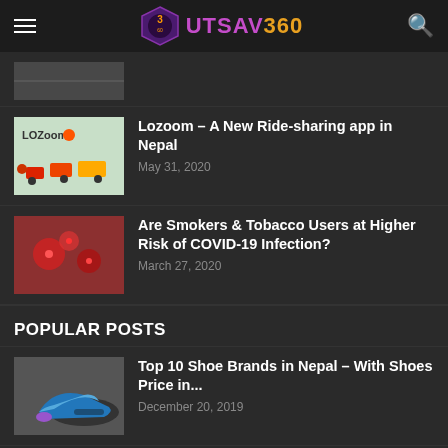UTSAV360
[Figure (photo): Partial thumbnail of a dark image at the top]
Lozoom – A New Ride-sharing app in Nepal
May 31, 2020
Are Smokers & Tobacco Users at Higher Risk of COVID-19 Infection?
March 27, 2020
POPULAR POSTS
Top 10 Shoe Brands in Nepal – With Shoes Price in...
December 20, 2019
List of 10 Best Gyms in Kathmandu